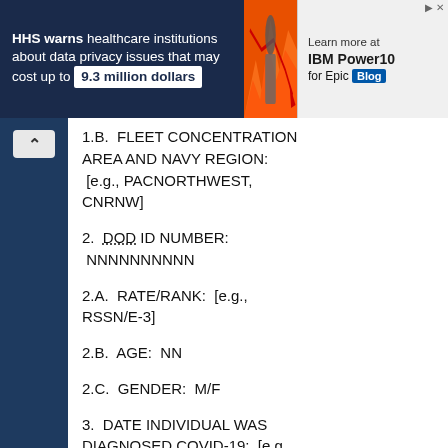[Figure (infographic): Advertisement banner: HHS warns healthcare institutions about data privacy issues that may cost up to 9.3 million dollars. Shows man with glasses, orange/red flame background with downward chart arrow. Right panel: Learn more at IBM Power10 for Epic Blog.]
1.B.  FLEET CONCENTRATION AREA AND NAVY REGION:  [e.g., PACNORTHWEST, CNRNW]
2.  DOD ID NUMBER:  NNNNNNNNNN
2.A.  RATE/RANK:  [e.g., RSSN/E-3]
2.B.  AGE:  NN
2.C.  GENDER:  M/F
3.  DATE INDIVIDUAL WAS DIAGNOSED COVID-19:  [e.g., 15APR20]